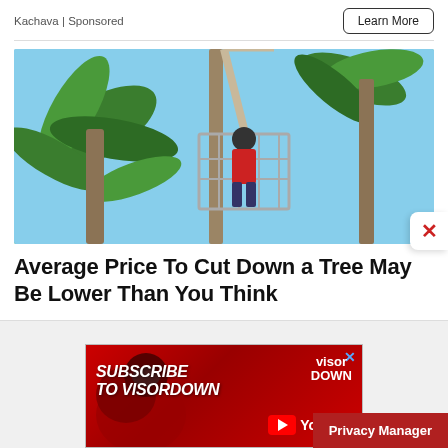Kachava | Sponsored
Learn More
[Figure (photo): A worker in a red shirt stands in an elevated cage/platform attached to tall palm trees against a blue sky, likely trimming or cutting the trees.]
Average Price To Cut Down a Tree May Be Lower Than You Think
[Figure (photo): Red advertisement banner: SUBSCRIBE TO VISORDOWN with VisorDown YouTube logo. A motorcyclist in background.]
Privacy Manager